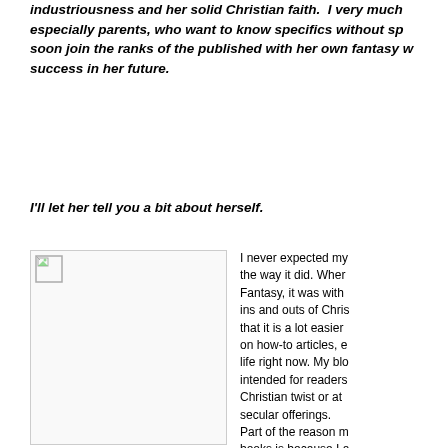industriousness and her solid Christian faith.  I very much especially parents, who want to know specifics without sp soon join the ranks of the published with her own fantasy w success in her future.
I'll let her tell you a bit about herself.
[Figure (photo): Image placeholder with broken image icon in upper left corner]
I never expected my the way it did. Wher Fantasy, it was with ins and outs of Chris that it is a lot easier on how-to articles, e life right now. My blo intended for readers Christian twist or at secular offerings. Part of the reason m books is because I a the advice that you s writing. When I first s d th